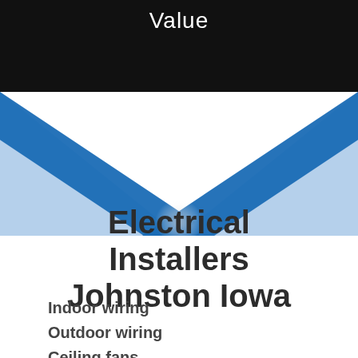Value
[Figure (illustration): Decorative X-shaped graphic made of blue and light blue triangular shapes crossing in the center, with a soft glow circle in the middle]
Electrical Installers Johnston Iowa
Indoor wiring
Outdoor wiring
Ceiling fans
Wall switches
Wall outlets
New lighting and repair